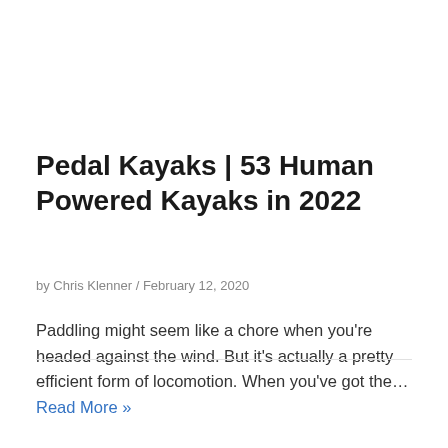Pedal Kayaks | 53 Human Powered Kayaks in 2022
by Chris Klenner / February 12, 2020
Paddling might seem like a chore when you're headed against the wind. But it's actually a pretty efficient form of locomotion. When you've got the… Read More »